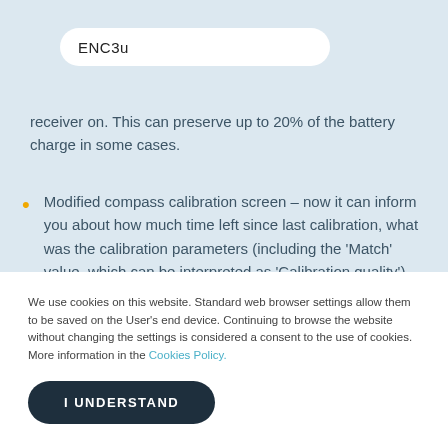ENC3u
receiver on. This can preserve up to 20% of the battery charge in some cases.
Modified compass calibration screen – now it can inform you about how much time left since last calibration, what was the calibration parameters (including the 'Match' value, which can be interpreted as 'Calibration quality').
The calibration process now is much more repetitive
We use cookies on this website. Standard web browser settings allow them to be saved on the User's end device. Continuing to browse the website without changing the settings is considered a consent to the use of cookies. More information in the Cookies Policy.
I UNDERSTAND